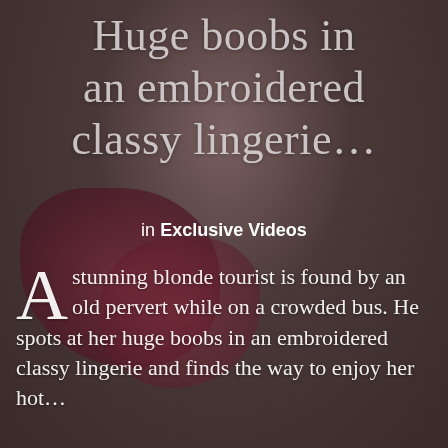Huge boobs in an embroidered classy lingerie…
in Exclusive Videos
A stunning blonde tourist is found by an old pervert while on a crowded bus. He spots at her huge boobs in an embroidered classy lingerie and finds the way to enjoy her hot…